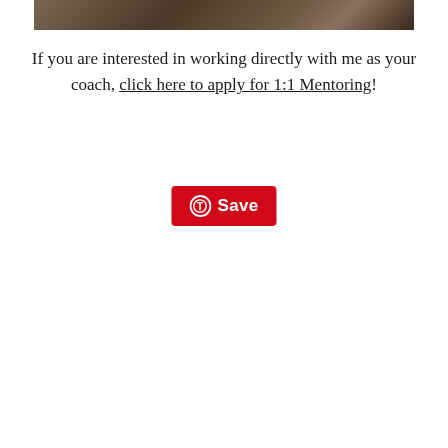[Figure (photo): Partial photo of a person holding a camera, cropped at the top of the page]
If you are interested in working directly with me as your coach, click here to apply for 1:1 Mentoring!
[Figure (other): Pinterest Save button — red rounded rectangle with Pinterest logo icon and 'Save' text]